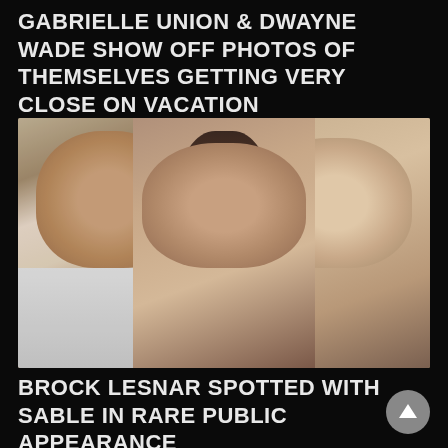GABRIELLE UNION & DWAYNE WADE SHOW OFF PHOTOS OF THEMSELVES GETTING VERY CLOSE ON VACATION
[Figure (photo): Three people posing together for a photo indoors. On the left is a large bald/shaved-head man wearing a white shirt with sunglasses hanging from his collar and visible tattoos. In the center is a woman with dark hair smiling. On the right is a blonde woman wearing sunglasses. Stone wall visible in the background.]
BROCK LESNAR SPOTTED WITH SABLE IN RARE PUBLIC APPEARANCE